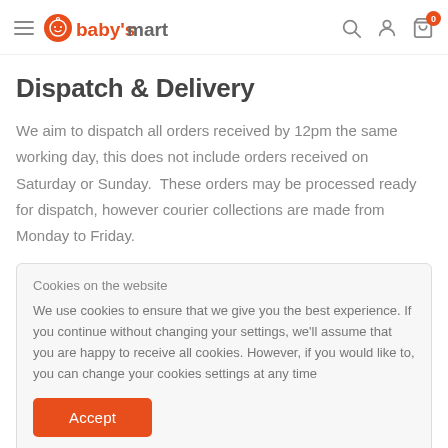baby's mart — navigation header with search, account, and cart icons
Dispatch & Delivery
We aim to dispatch all orders received by 12pm the same working day, this does not include orders received on Saturday or Sunday.  These orders may be processed ready for dispatch, however courier collections are made from Monday to Friday.
Cookies on the website
We use cookies to ensure that we give you the best experience. If you continue without changing your settings, we'll assume that you are happy to receive all cookies. However, if you would like to, you can change your cookies settings at any time
Accept